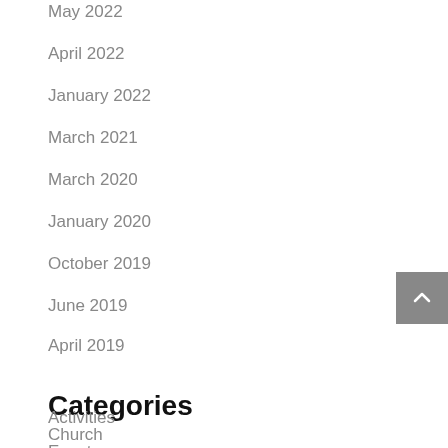May 2022
April 2022
January 2022
March 2021
March 2020
January 2020
October 2019
June 2019
April 2019
Categories
Activities
Church
Event
Meta